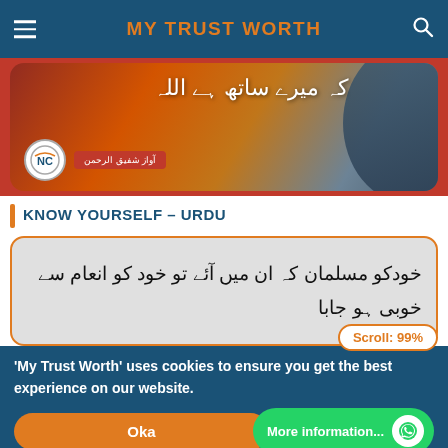MY TRUST WORTH
[Figure (screenshot): Banner image with Urdu text and person silhouette, NC badge and Awaz badge]
KNOW YOURSELF – URDU
[Figure (photo): Urdu Nastaliq handwritten or printed text in a card with orange border]
'My Trust Worth' uses cookies to ensure you get the best experience on our website.
Okay
Scroll: 99%
More information...